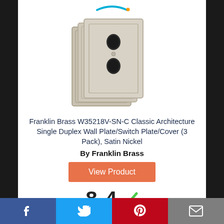[Figure (photo): Amazon logo at top of page (partial, cropped)]
[Figure (photo): Three stacked satin nickel single duplex wall plates with rectangular beveled border design]
Franklin Brass W35218V-SN-C Classic Architecture Single Duplex Wall Plate/Switch Plate/Cover (3 Pack), Satin Nickel
By Franklin Brass
View Product
8.4
Score
[Figure (infographic): Social sharing bar with Facebook, Twitter, Pinterest, and email icons]